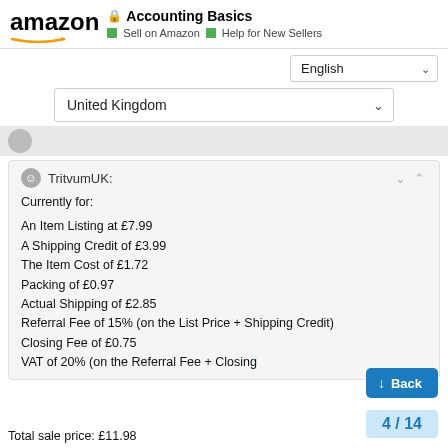amazon | Accounting Basics | Sell on Amazon | Help for New Sellers
English
United Kingdom
TritvumUK:
Currently for:

An Item Listing at £7.99
A Shipping Credit of £3.99
The Item Cost of £1.72
Packing of £0.97
Actual Shipping of £2.85
Referral Fee of 15% (on the List Price + Shipping Credit)
Closing Fee of £0.75
VAT of 20% (on the Referral Fee + Closing
Total sale price: £11.98
Back
4 / 14